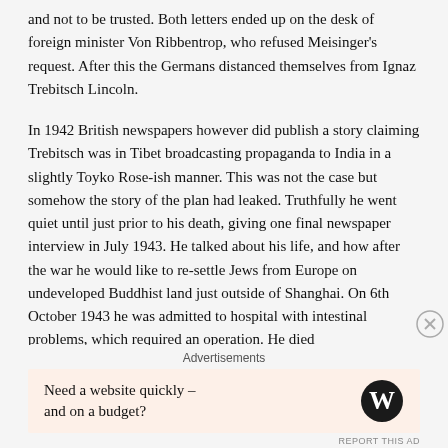and not to be trusted. Both letters ended up on the desk of foreign minister Von Ribbentrop, who refused Meisinger's request. After this the Germans distanced themselves from Ignaz Trebitsch Lincoln.
In 1942 British newspapers however did publish a story claiming Trebitsch was in Tibet broadcasting propaganda to India in a slightly Toyko Rose-ish manner. This was not the case but somehow the story of the plan had leaked. Truthfully he went quiet until just prior to his death, giving one final newspaper interview in July 1943. He talked about his life, and how after the war he would like to re-settle Jews from Europe on undeveloped Buddhist land just outside of Shanghai. On 6th October 1943 he was admitted to hospital with intestinal problems, which required an operation. He died
Advertisements
Need a website quickly – and on a budget?